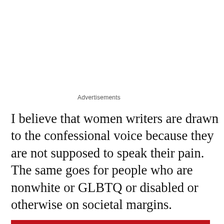Advertisements
I believe that women writers are drawn to the confessional voice because they are not supposed to speak their pain. The same goes for people who are nonwhite or GLBTQ or disabled or otherwise on societal margins.
Confession is only necessary where there is repression, where it serves the interests of those in power to persuade
Privacy & Cookies: This site uses cookies. By continuing to use this website, you agree to their use.
To find out more, including how to control cookies, see here: Cookie Policy
Close and accept